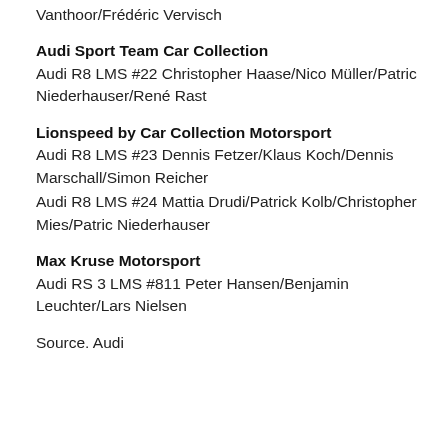Vanthoor/Frédéric Vervisch
Audi Sport Team Car Collection
Audi R8 LMS #22 Christopher Haase/Nico Müller/Patric Niederhauser/René Rast
Lionspeed by Car Collection Motorsport
Audi R8 LMS #23 Dennis Fetzer/Klaus Koch/Dennis Marschall/Simon Reicher
Audi R8 LMS #24 Mattia Drudi/Patrick Kolb/Christopher Mies/Patric Niederhauser
Max Kruse Motorsport
Audi RS 3 LMS #811 Peter Hansen/Benjamin Leuchter/Lars Nielsen
Source. Audi